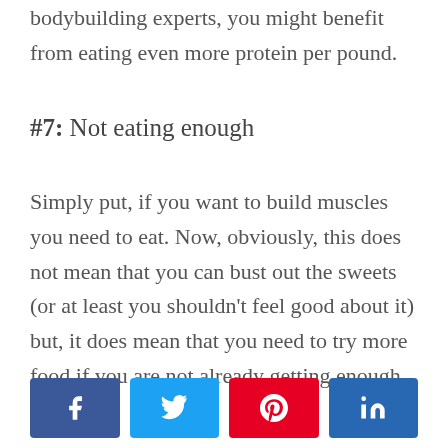bodybuilding experts, you might benefit from eating even more protein per pound.
#7: Not eating enough
Simply put, if you want to build muscles you need to eat. Now, obviously, this does not mean that you can bust out the sweets (or at least you shouldn't feel good about it) but, it does mean that you need to try more food if you are not already getting enough calories.
[Figure (other): Social media share buttons: Facebook, Twitter, Pinterest, LinkedIn]